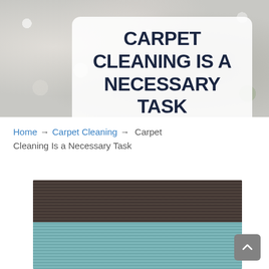[Figure (photo): Hero banner with stone/pebble texture background, light gray-white aggregate stones]
CARPET CLEANING IS A NECESSARY TASK
Home → Carpet Cleaning → Carpet Cleaning Is a Necessary Task
[Figure (photo): Close-up photo of carpet samples showing dark charcoal/brown carpet on top and teal/blue carpet below]